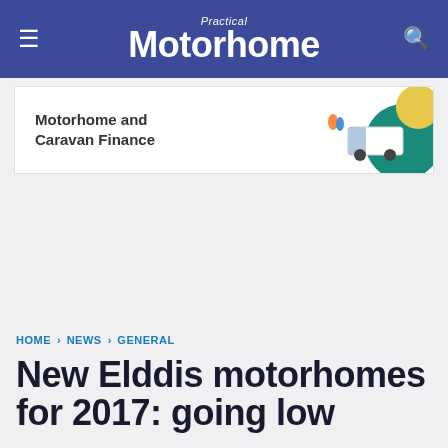Practical Motorhome
[Figure (other): Motorhome and Caravan Finance advertisement banner with illustrated graphic of people and a motorhome on teal/yellow background]
HOME › NEWS › GENERAL
New Elddis motorhomes for 2017: going low